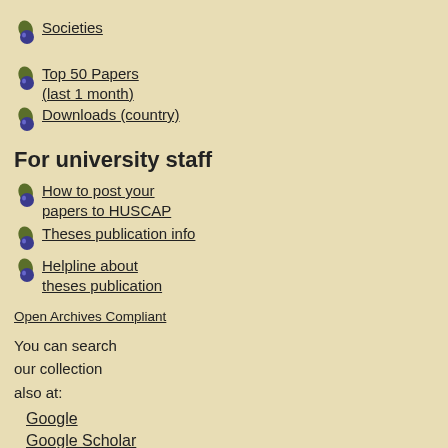Societies
Top 50 Papers (last 1 month)
Downloads (country)
For university staff
How to post your papers to HUSCAP
Theses publication info
Helpline about theses publication
Open Archives Compliant
You can search our collection also at:
Google
Google Scholar
CiNii